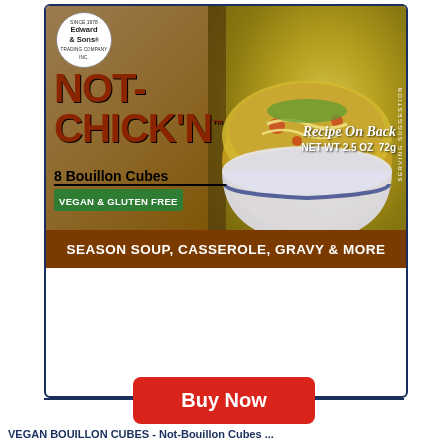[Figure (photo): Edward & Sons Not-Chick'N 8 Bouillon Cubes product box. Shows the brand logo (Edward & Sons Trading Company Inc., Since 1978), large text NOT-CHICK'N in dark red/brown, 8 Bouillon Cubes, VEGAN & GLUTEN FREE in green, Recipe On Back, NET WT 2.5 OZ 72g, and SEASON SOUP, CASSEROLE, GRAVY & MORE on a brown bar at the bottom. Right side shows a bowl of chicken noodle soup as a serving suggestion.]
[Figure (screenshot): Red Buy Now button centered below the product card.]
VEGAN BOUILLON CUBES - Not-Chicken Cubes ...